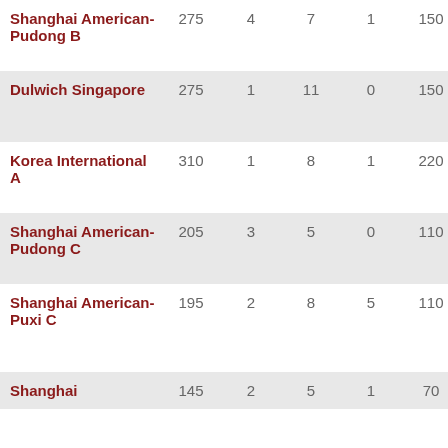| School | Col2 | Col3 | Col4 | Col5 | Col6 | Col7 | School2 |
| --- | --- | --- | --- | --- | --- | --- | --- |
| Shanghai American-Pudong B | 275 | 4 | 7 | 1 | 150 | 13.64 | Sh Am Pu |
| Dulwich Singapore | 275 | 1 | 11 | 0 | 150 | 12.50 | Sh Am Pu |
| Korea International A | 310 | 1 | 8 | 1 | 220 | 24.44 | Ho In B |
| Shanghai American-Pudong C | 205 | 3 | 5 | 0 | 110 | 13.75 | Ko In C |
| Shanghai American-Puxi C | 195 | 2 | 8 | 5 | 110 | 11.00 | Am In Gu C |
| Shanghai | 145 | 2 | 5 | 1 | 70 | 10.00 | Am |